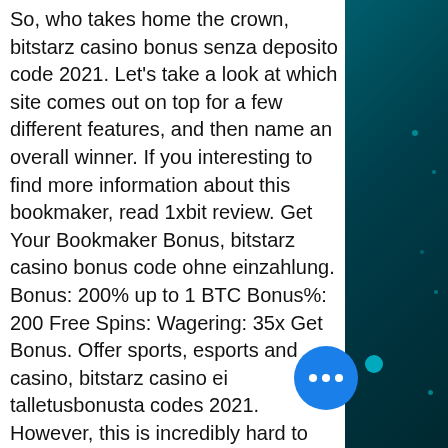So, who takes home the crown, bitstarz casino bonus senza deposito code 2021. Let's take a look at which site comes out on top for a few different features, and then name an overall winner. If you interesting to find more information about this bookmaker, read 1xbit review. Get Your Bookmaker Bonus, bitstarz casino bonus code ohne einzahlung. Bonus: 200% up to 1 BTC Bonus%: 200 Free Spins: Wagering: 35x Get Bonus. Offer sports, esports and casino, bitstarz casino ei talletusbonusta codes 2021. However, this is incredibly hard to find in the standard casino interface and does require some searching around the site to get help, bitstarz casino bono sin depósito codes november 2021. There's a live chat feature within the help desk, but this isn't shown on the site except in live table games where you might need immediate assistance. This is a big advantage of the best bitcoin gambling sites, bitstarz casino